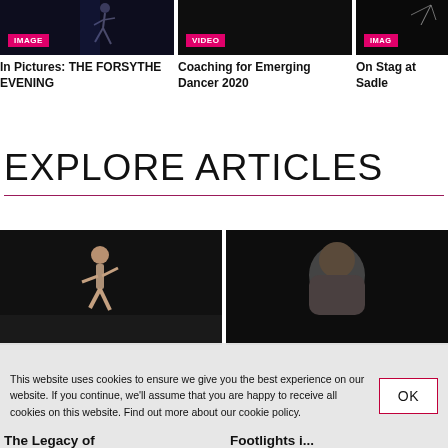[Figure (photo): Dark photo with dancer silhouette, IMAGE badge overlay]
In Pictures: THE FORSYTHE EVENING
[Figure (photo): Dark photo, VIDEO badge overlay]
Coaching for Emerging Dancer 2020
[Figure (photo): Dark photo, IMAGE badge overlay, partially cropped]
On Stag at Sadle
EXPLORE ARTICLES
[Figure (photo): Dancer on dark stage, article thumbnail]
[Figure (photo): Person on dark background, article thumbnail]
This website uses cookies to ensure we give you the best experience on our website. If you continue, we'll assume that you are happy to receive all cookies on this website. Find out more about our cookie policy.
OK
The Legacy of
Footlights i...